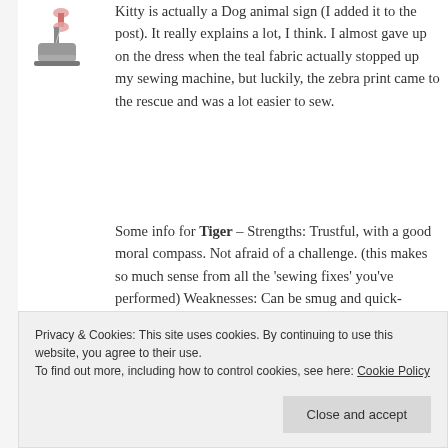[Figure (illustration): Small icon of a sewing machine with a red/pink spool on top]
Kitty is actually a Dog animal sign (I added it to the post). It really explains a lot, I think. I almost gave up on the dress when the teal fabric actually stopped up my sewing machine, but luckily, the zebra print came to the rescue and was a lot easier to sew.
Some info for Tiger – Strengths: Trustful, with a good moral compass. Not afraid of a challenge. (this makes so much sense from all the 'sewing fixes' you've performed) Weaknesses: Can be smug and quick-tempered. Can be poor
Privacy & Cookies: This site uses cookies. By continuing to use this website, you agree to their use.
To find out more, including how to control cookies, see here: Cookie Policy
Close and accept